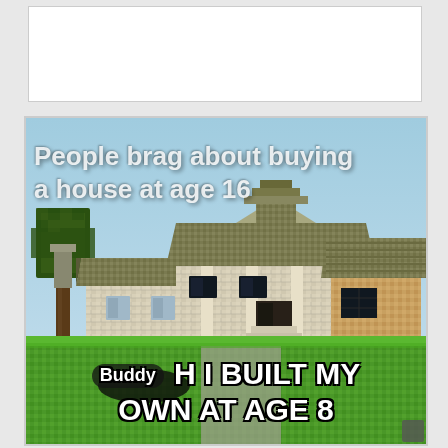[Figure (photo): Meme image showing a Minecraft-built mansion/house. Top text reads 'People brag about buying a house at age 16'. Bottom text reads '[Buddy] H I BUILT MY OWN AT AGE 8' with 'Buddy' in a black oval tag.]